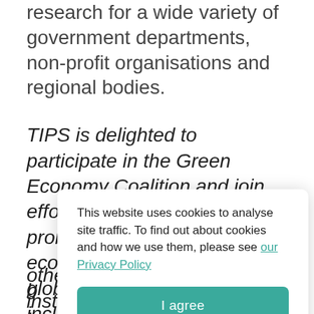research for a wide variety of government departments, non-profit organisations and regional bodies.
TIPS is delighted to participate in the Green Economy Coalition and join efforts with other members to promote and foster a green economy in South Africa and globally. The transition to an inclusive green economy has be… b… un… ac… un… de…
This website uses cookies to analyse site traffic. To find out about cookies and how we use them, please see our Privacy Policy
I agree
other local and international institutions is a key